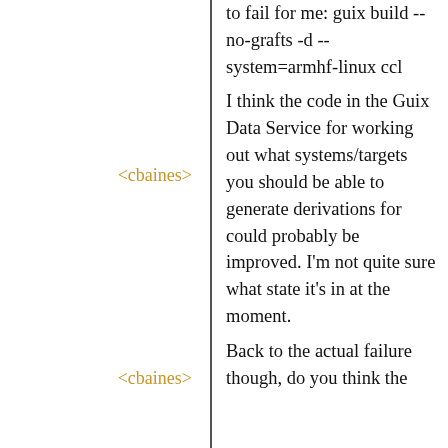to fail for me: guix build --no-grafts -d --system=armhf-linux ccl
<cbaines>
I think the code in the Guix Data Service for working out what systems/targets you should be able to generate derivations for could probably be improved. I'm not quite sure what state it's in at the moment.
<cbaines>
Back to the actual failure though, do you think the